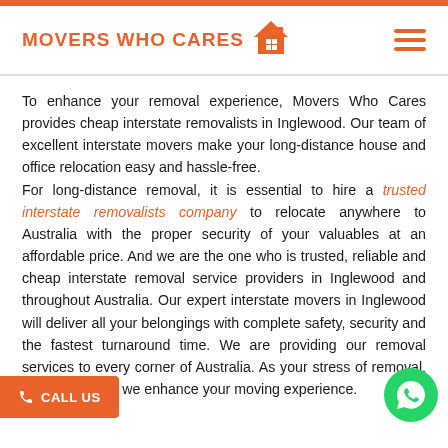MOVERS WHO CARES
To enhance your removal experience, Movers Who Cares provides cheap interstate removalists in Inglewood. Our team of excellent interstate movers make your long-distance house and office relocation easy and hassle-free. For long-distance removal, it is essential to hire a trusted interstate removalists company to relocate anywhere to Australia with the proper security of your valuables at an affordable price. And we are the one who is trusted, reliable and cheap interstate removal service providers in Inglewood and throughout Australia. Our expert interstate movers in Inglewood will deliver all your belongings with complete safety, security and the fastest turnaround time. We are providing our removal services to every corner of Australia. As your stress of removal, we behave and we enhance your moving experience.